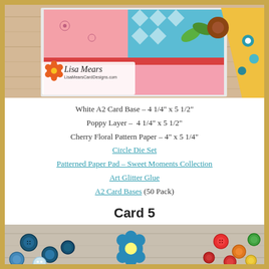[Figure (photo): Header photo showing colorful quilted fabric craft cards on a wooden surface with floral designs, featuring the Lisa Mears LisaMearsCardDesigns.com logo in the lower left]
White A2 Card Base – 4 1/4" x 5 1/2"
Poppy Layer –  4 1/4" x 5 1/2"
Cherry Floral Pattern Paper – 4" x 5 1/4"
Circle Die Set
Patterned Paper Pad – Sweet Moments Collection
Art Glitter Glue
A2 Card Bases (50 Pack)
Card 5
[Figure (photo): Bottom photo showing colorful craft buttons and a teal flower on a wooden surface background]